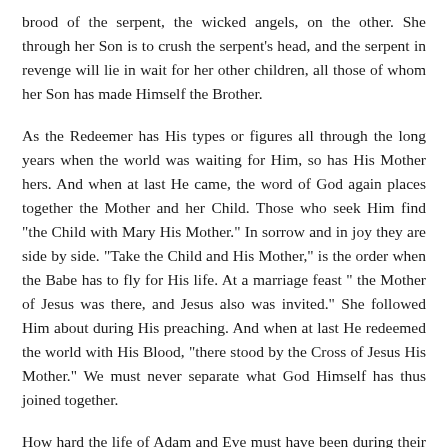brood of the serpent, the wicked angels, on the other. She through her Son is to crush the serpent's head, and the serpent in revenge will lie in wait for her other children, all those of whom her Son has made Himself the Brother.
As the Redeemer has His types or figures all through the long years when the world was waiting for Him, so has His Mother hers. And when at last He came, the word of God again places together the Mother and her Child. Those who seek Him find "the Child with Mary His Mother." In sorrow and in joy they are side by side. "Take the Child and His Mother," is the order when the Babe has to fly for His life. At a marriage feast " the Mother of Jesus was there, and Jesus also was invited." She followed Him about during His preaching. And when at last He redeemed the world with His Blood, "there stood by the Cross of Jesus His Mother." We must never separate what God Himself has thus joined together.
How hard the life of Adam and Eve must have been during their nine hundred years of penance! Could those who had known the paradise of pleasure ever get used to the world outside ! "Cursed is the earth in